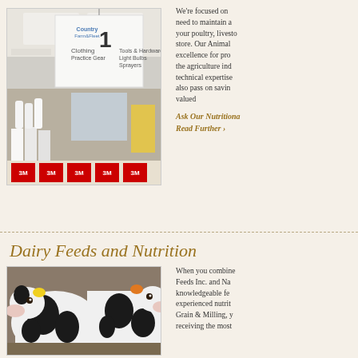[Figure (photo): Interior of an agricultural/farm supply store with hanging aisle signs showing 'Clothing, Practice Gear' and 'Tools & Hardware, Light Bulbs, Sprayers' with 3M boxes and other products on shelves]
We're focused on need to maintain a your poultry, livesto store. Our Animal excellence for pro the agriculture ind technical expertis also pass on savin valued
Ask Our Nutritiona
Read Further ›
Dairy Feeds and Nutrition
[Figure (photo): Close-up photo of black and white dairy cows (Holstein breed) with yellow and orange ear tags]
When you combine Feeds Inc. and Na knowledgeable fe experienced nutrit Grain & Milling, y receiving the most